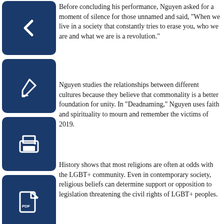Before concluding his performance, Nguyen asked for a moment of silence for those unnamed and said, "When we live in a society that constantly tries to erase you, who we are and what we are is a revolution."
Nguyen studies the relationships between different cultures because they believe that commonality is a better foundation for unity. In "Deadnaming," Nguyen uses faith and spirituality to mourn and remember the victims of 2019.
History shows that most religions are often at odds with the LGBT+ community. Even in contemporary society, religious beliefs can determine support or opposition to legislation threatening the civil rights of LGBT+ peoples.
On Jan. 24, Tennessee governor Bill Lee, signed a bill (HB836) allowing state and federal foster care agencies to discriminate against gay couples. This attributing to the belief that a “natural” marriage is between one man and one woman.
Nguyen hopes that by placing these two entities together, they can begin to bridge the divide.
“Religion allows us to feel comfortable and mourn for those we lost.”
Rather than using religion to create a greater wedge between these